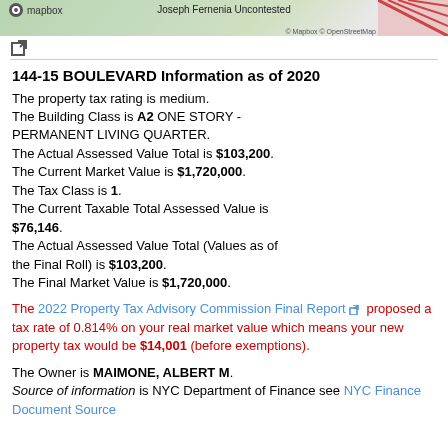[Figure (map): Mapbox map screenshot showing 'Joseph Fernenia Uncontested' label, with diagonal stripe pattern on right side. Mapbox and OpenStreetMap copyright shown.]
External link icon
144-15 BOULEVARD Information as of 2020
The property tax rating is medium. The Building Class is A2 ONE STORY - PERMANENT LIVING QUARTER. The Actual Assessed Value Total is $103,200. The Current Market Value is $1,720,000. The Tax Class is 1. The Current Taxable Total Assessed Value is $76,146. The Actual Assessed Value Total (Values as of the Final Roll) is $103,200. The Final Market Value is $1,720,000.
The 2022 Property Tax Advisory Commission Final Report proposed a tax rate of 0.814% on your real market value which means your new property tax would be $14,001 (before exemptions).
The Owner is MAIMONE, ALBERT M. Source of information is NYC Department of Finance see NYC Finance Document Source